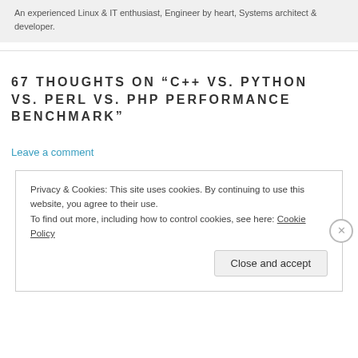An experienced Linux & IT enthusiast, Engineer by heart, Systems architect & developer.
67 THOUGHTS ON “C++ VS. PYTHON VS. PERL VS. PHP PERFORMANCE BENCHMARK”
Leave a comment
Privacy & Cookies: This site uses cookies. By continuing to use this website, you agree to their use.
To find out more, including how to control cookies, see here: Cookie Policy
Close and accept